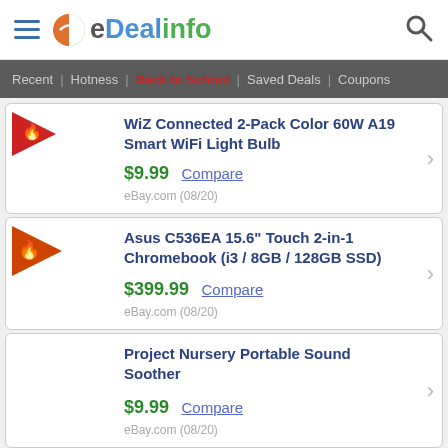eDealinfo
Recent | Hotness | Back to School | Saved Deals | Coupons
WiZ Connected 2-Pack Color 60W A19 Smart WiFi Light Bulb — $9.99 Compare — eBay.com (08/20)
Asus C536EA 15.6" Touch 2-in-1 Chromebook (i3 / 8GB / 128GB SSD) — $399.99 Compare — eBay.com (08/20)
Project Nursery Portable Sound Soother — $9.99 Compare — eBay.com (08/20)